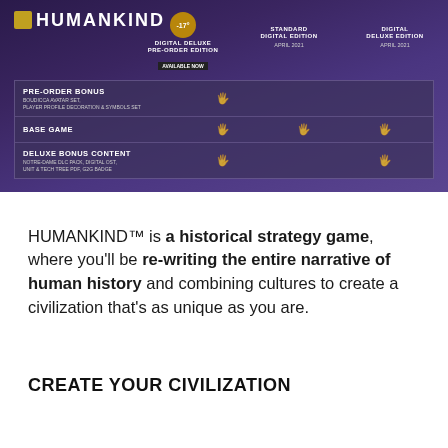[Figure (screenshot): HUMANKIND game promotional image showing edition comparison table with pre-order bonus, base game, and deluxe bonus content rows with hand icons indicating inclusion across Digital Deluxe Pre-Order Edition (Available Now), Standard Digital Edition (April 2021), and Digital Deluxe Edition (April 2021)]
HUMANKIND™ is a historical strategy game, where you'll be re-writing the entire narrative of human history and combining cultures to create a civilization that's as unique as you are.
CREATE YOUR CIVILIZATION
[Figure (screenshot): Aerial view of a HUMANKIND game map showing a colorful city with varied terrain including buildings, forests, and landscape elements]